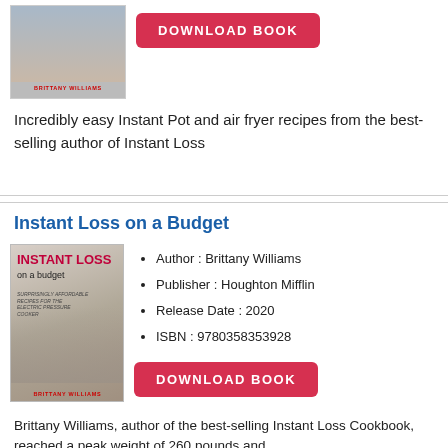[Figure (photo): Book cover for Instant Loss cookbook (partial, top of page), showing a person cooking with title Brittany Williams at bottom]
DOWNLOAD BOOK
Incredibly easy Instant Pot and air fryer recipes from the best-selling author of Instant Loss
Instant Loss on a Budget
[Figure (photo): Book cover for Instant Loss on a Budget by Brittany Williams, showing a woman cooking in a kitchen]
Author : Brittany Williams
Publisher : Houghton Mifflin
Release Date : 2020
ISBN : 9780358353928
DOWNLOAD BOOK
Brittany Williams, author of the best-selling Instant Loss Cookbook, reached a peak weight of 260 pounds and